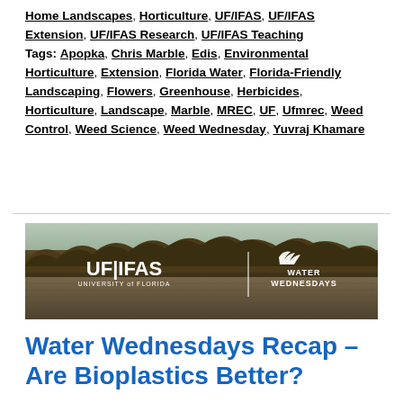Home Landscapes, Horticulture, UF/IFAS, UF/IFAS Extension, UF/IFAS Research, UF/IFAS Teaching Tags: Apopka, Chris Marble, Edis, Environmental Horticulture, Extension, Florida Water, Florida-Friendly Landscaping, Flowers, Greenhouse, Herbicides, Horticulture, Landscape, Marble, MREC, UF, Ufmrec, Weed Control, Weed Science, Weed Wednesday, Yuvraj Khamare
[Figure (photo): A wide banner image showing a river or lake scene with trees reflected in the water. Overlaid logos: UF|IFAS University of Florida on the left, and Water Wednesdays on the right with a bird logo.]
Water Wednesdays Recap – Are Bioplastics Better?